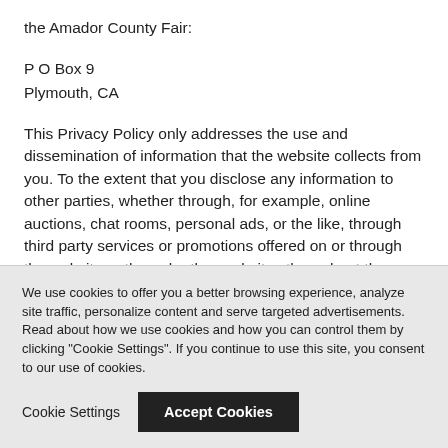the Amador County Fair:
P O Box 9
Plymouth, CA
This Privacy Policy only addresses the use and dissemination of information that the website collects from you. To the extent that you disclose any information to other parties, whether through, for example, online auctions, chat rooms, personal ads, or the like, through third party services or promotions offered on or through the website or through other websites throughout the internet, different policies may apply and Amador County Fair shall not be responsible for the use or dissemination of such information.
LINKS TO OTHER WEBSITES
We use cookies to offer you a better browsing experience, analyze site traffic, personalize content and serve targeted advertisements. Read about how we use cookies and how you can control them by clicking "Cookie Settings". If you continue to use this site, you consent to our use of cookies.